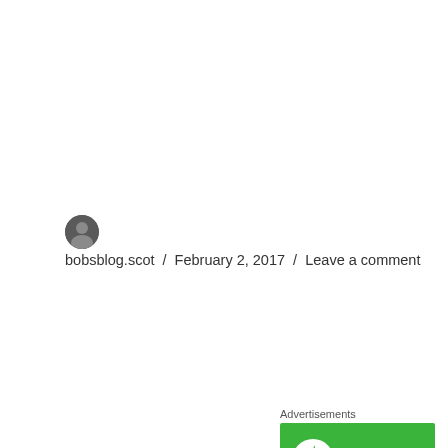bobsblog.scot / February 2, 2017 / Leave a comment
Advertisements
[Figure (logo): Jetpack plugin advertisement banner: green background with Jetpack logo (white circle with lightning bolt) and white 'Jetpack' text, decorative swirl curves at bottom]